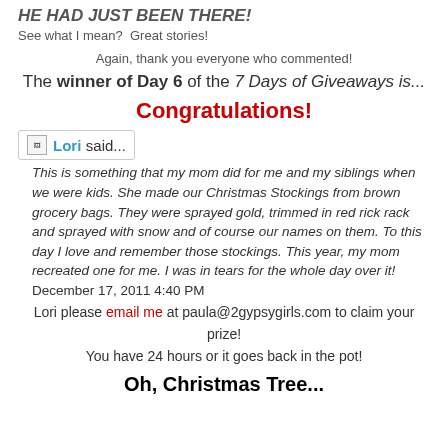HE HAD JUST BEEN THERE!
See what I mean?  Great stories!
Again, thank you everyone who commented!
The winner of Day 6 of the 7 Days of Giveaways is...
Congratulations!
Blogger Lori said...
This is something that my mom did for me and my siblings when we were kids. She made our Christmas Stockings from brown grocery bags. They were sprayed gold, trimmed in red rick rack and sprayed with snow and of course our names on them. To this day I love and remember those stockings. This year, my mom recreated one for me. I was in tears for the whole day over it!     December 17, 2011 4:40 PM
Lori please email me at paula@2gypsygirls.com to claim your prize!
You have 24 hours or it goes back in the pot!
Oh, Christmas Tree...